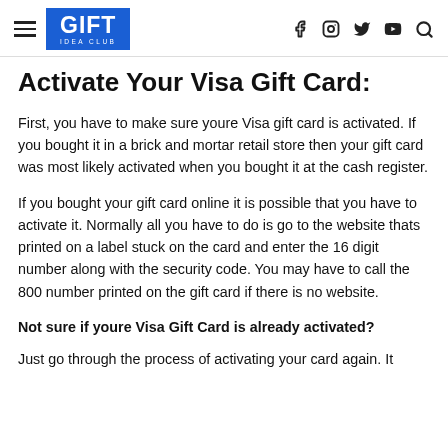GIFT IDEA CLUB
Activate Your Visa Gift Card:
First, you have to make sure youre Visa gift card is activated. If you bought it in a brick and mortar retail store then your gift card was most likely activated when you bought it at the cash register.
If you bought your gift card online it is possible that you have to activate it. Normally all you have to do is go to the website thats printed on a label stuck on the card and enter the 16 digit number along with the security code. You may have to call the 800 number printed on the gift card if there is no website.
Not sure if youre Visa Gift Card is already activated?
Just go through the process of activating your card again. It